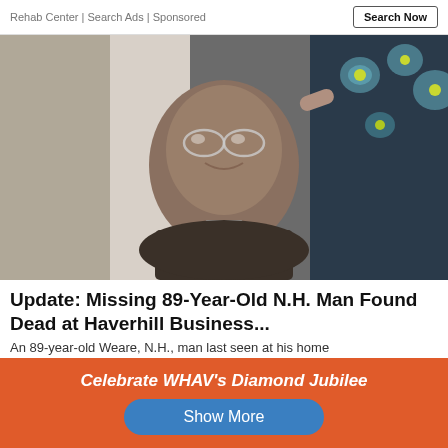Rehab Center | Search Ads | Sponsored
[Figure (photo): Elderly man with glasses smiling, seated, wearing a plaid shirt, in an indoor setting with curtains and floral fabric in background.]
Update: Missing 89-Year-Old N.H. Man Found Dead at Haverhill Business...
An 89-year-old Weare, N.H., man last seen at his home...
Celebrate WHAV's Diamond Jubilee
Show More